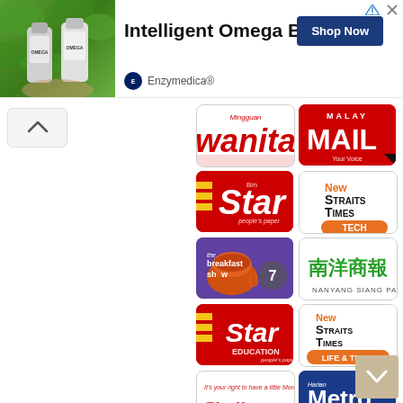[Figure (screenshot): Web page screenshot showing an advertisement banner at the top for Enzymedica Intelligent Omega Blend with a Shop Now button, and a grid of Malaysian newspaper/media publication logos including Mingguan Wanita, Malay Mail, Star, New Straits Times Tech, Breakfast Show 7, Nanyang Siang Pau, Star Education, New Straits Times Life & Times, Challenges, and Harian Metro Gen.Y blogrrr]